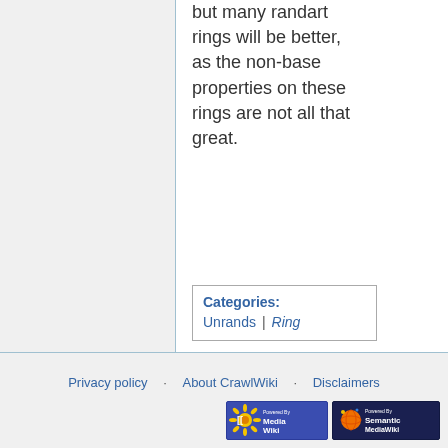but many randart rings will be better, as the non-base properties on these rings are not all that great.
| Categories: |
| --- |
| Unrands |
| | Ring |
Privacy policy | About CrawlWiki | Disclaimers
[Figure (logo): Powered by MediaWiki badge]
[Figure (logo): Powered by Semantic MediaWiki badge]